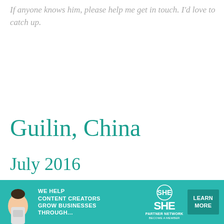If anyone knows him, please help me get in touch. I'd love to catch up.
Guilin, China
July 2016
The second worst hotel I encountered was in Guilin, China. This time, I used Booking.com. The booking was done haphazardly months before the trip. I had picked the cheapest
[Figure (advertisement): SHE Partner Network advertisement banner with teal background, showing a person with laptop, text 'WE HELP CONTENT CREATORS GROW BUSINESSES THROUGH...' and a 'LEARN MORE' button]